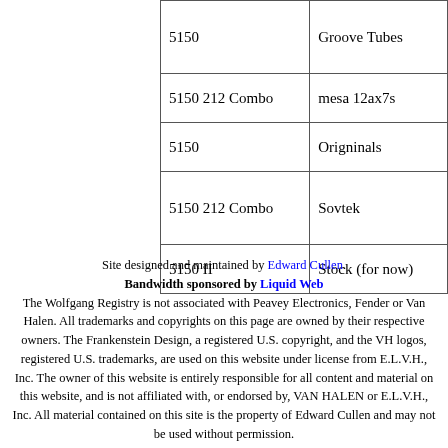| Model | Tubes |
| --- | --- |
| 5150 | Groove Tubes |
| 5150 212 Combo | mesa 12ax7s |
| 5150 | Origninals |
| 5150 212 Combo | Sovtek |
| 5150 II | Stock (for now) |
Site designed and maintained by Edward Cullen.
Bandwidth sponsored by Liquid Web
The Wolfgang Registry is not associated with Peavey Electronics, Fender or Van Halen. All trademarks and copyrights on this page are owned by their respective owners. The Frankenstein Design, a registered U.S. copyright, and the VH logos, registered U.S. trademarks, are used on this website under license from E.L.V.H., Inc. The owner of this website is entirely responsible for all content and material on this website, and is not affiliated with, or endorsed by, VAN HALEN or E.L.V.H., Inc. All material contained on this site is the property of Edward Cullen and may not be used without permission.
This page © Copyright 2003-2022 Edward Cullen All rights reserved.